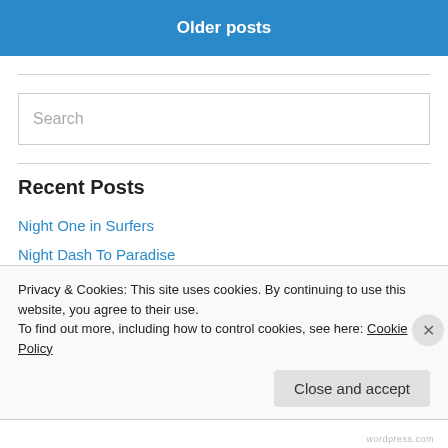Older posts
Search
Recent Posts
Night One in Surfers
Night Dash To Paradise
Barra Battles busted Bodgy Baffle Bracket hell Bent for Biting Bitumen
Privacy & Cookies: This site uses cookies. By continuing to use this website, you agree to their use.
To find out more, including how to control cookies, see here: Cookie Policy
Close and accept